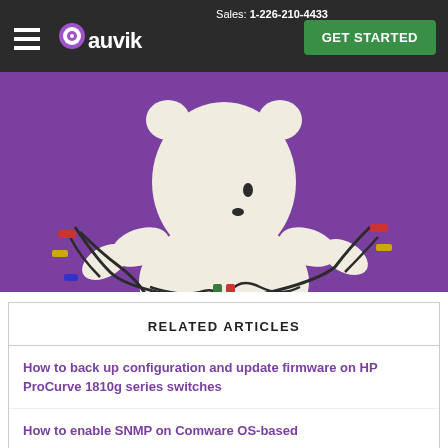Sales: 1-226-210-4433  GET STARTED  [hamburger menu] [auvik logo]
[Figure (illustration): Illustration of a white polar bear on a purple background, holding tangled network cables in both hands]
RELATED ARTICLES
How to back up configuration and update firmware on HP ProCurve 1810g series switches
How to enable SNMP on Comware OS-based switches